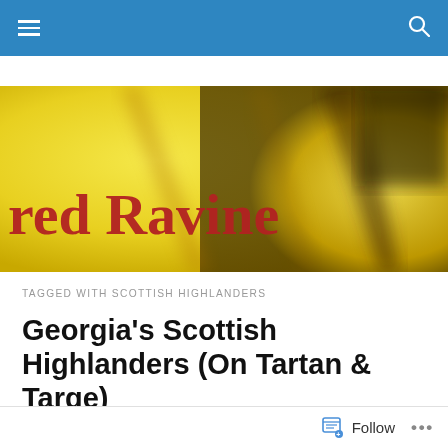red Ravine — walk to the bottom
[Figure (illustration): Blog banner image with yellow abstract blurred background (resembling flower petals) and the blog title 'red Ravine' in dark red serif font, with tagline 'walk to the bottom' in smaller text to the right.]
TAGGED WITH SCOTTISH HIGHLANDERS
Georgia's Scottish Highlanders (On Tartan & Targe)
[Figure (illustration): Partial view of a historical/vintage illustration featuring figures in traditional Scottish Highland dress (tartans), cropped at bottom of page.]